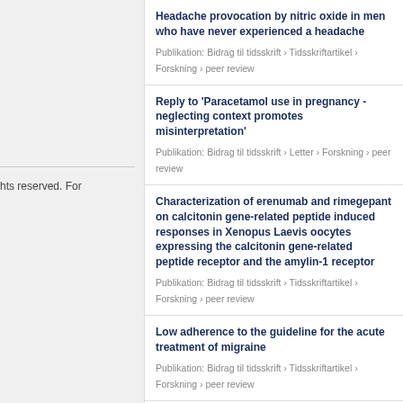hts reserved. For
Headache provocation by nitric oxide in men who have never experienced a headache
Publikation: Bidrag til tidsskrift › Tidsskriftartikel › Forskning › peer review
Reply to 'Paracetamol use in pregnancy - neglecting context promotes misinterpretation'
Publikation: Bidrag til tidsskrift › Letter › Forskning › peer review
Characterization of erenumab and rimegepant on calcitonin gene-related peptide induced responses in Xenopus Laevis oocytes expressing the calcitonin gene-related peptide receptor and the amylin-1 receptor
Publikation: Bidrag til tidsskrift › Tidsskriftartikel › Forskning › peer review
Low adherence to the guideline for the acute treatment of migraine
Publikation: Bidrag til tidsskrift › Tidsskriftartikel › Forskning › peer review
Human sperm cells can form paracetamol metabolite AM404 that directly interferes with sperm calcium signalling and function through a CatSper-dependent mechanism
Publikation: Bidrag til tidsskrift › Tidsskriftartikel › Forskning › peer review